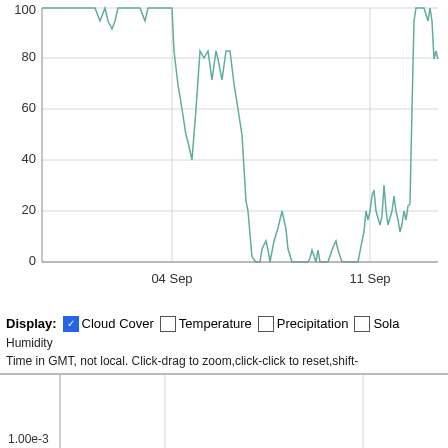[Figure (continuous-plot): Time series line chart of cloud cover percentage over early September, showing values mostly at 100% with drops around 04 Sep to ~53% and later sustained drop to near 0% around 07-10 Sep, with spikes up to ~32% around 08-09 Sep, then rising again around 11 Sep with spikes to ~47% and back to 100%.]
Display: ✓ Cloud Cover □ Temperature □ Precipitation □ Solar Humidity
Time in GMT, not local. Click-drag to zoom,click-click to reset,shift-
Funegasawa Precipitation
[Figure (continuous-plot): Precipitation time series chart, mostly empty with vertical gridlines at approximately 04 Sep and 11 Sep intervals.]